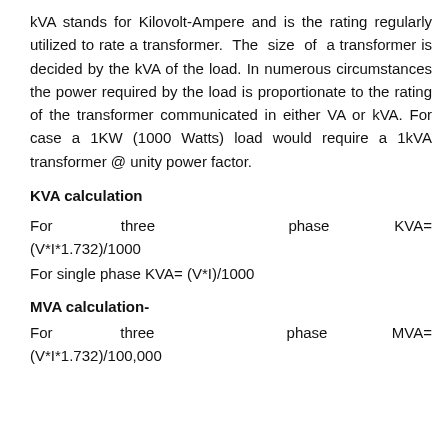kVA stands for Kilovolt-Ampere and is the rating regularly utilized to rate a transformer. The size of a transformer is decided by the kVA of the load. In numerous circumstances the power required by the load is proportionate to the rating of the transformer communicated in either VA or kVA. For case a 1KW (1000 Watts) load would require a 1kVA transformer @ unity power factor.
KVA calculation
For three phase KVA= (V*I*1.732)/1000
For single phase KVA= (V*I)/1000
MVA calculation-
For three phase MVA= (V*I*1.732)/100,000